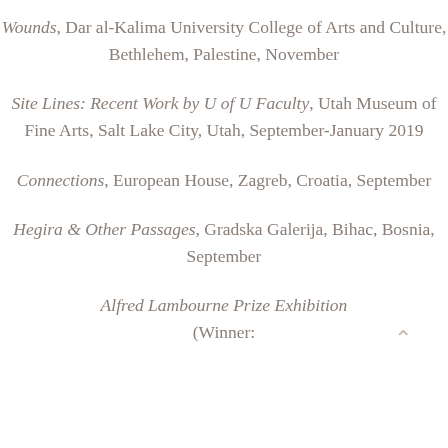Wounds, Dar al-Kalima University College of Arts and Culture, Bethlehem, Palestine, November
Site Lines: Recent Work by U of U Faculty, Utah Museum of Fine Arts, Salt Lake City, Utah, September-January 2019
Connections, European House, Zagreb, Croatia, September
Hegira & Other Passages, Gradska Galerija, Bihac, Bosnia, September
Alfred Lambourne Prize Exhibition (Winner: